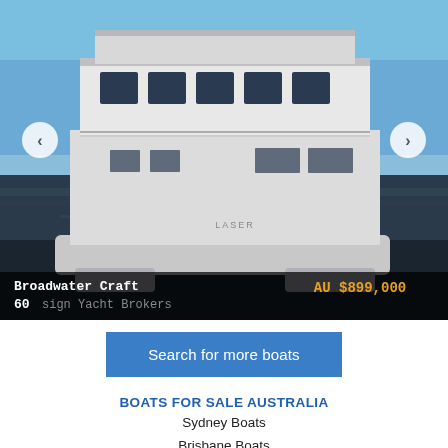[Figure (photo): A white houseboat or large motorboat on the water, photographed from a front-angle view. The boat has a double-deck design with a white hull and large windows on the upper deck. Clear blue sky in the background.]
Broadwater Craft
60
AU $899,000
sign Yacht Brokers
Search for more boats
BOATS FOR SALE AUSTRALIA
Sydney Boats
Brisbane Boats
Gold Coast Boats
Sunshine Coast Boats
Melbourne Boats
Boats Perth
Adelaide Boats